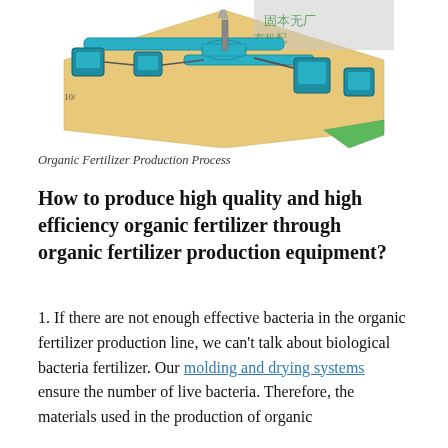[Figure (engineering-diagram): Isometric 3D illustration of an organic fertilizer production process facility showing conveyor belts, rotary drums, and processing equipment arranged along a production line on a rectangular platform, with Chinese text labels in the background.]
Organic Fertilizer Production Process
How to produce high quality and high efficiency organic fertilizer through organic fertilizer production equipment?
1. If there are not enough effective bacteria in the organic fertilizer production line, we can't talk about biological bacteria fertilizer. Our molding and drying systems ensure the number of live bacteria. Therefore, the materials used in the production of organic